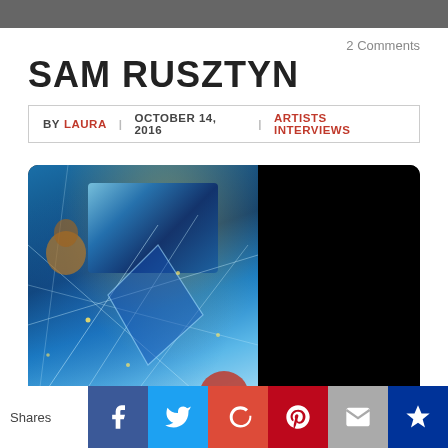2 Comments
SAM RUSZTYN
BY LAURA | OCTOBER 14, 2016 | ARTISTS INTERVIEWS
[Figure (photo): A digital artwork displayed on a tablet/screen showing a surreal blue glowing scene with geometric crystal lines, a small squirrel figure, and a Van Gogh Starry Night-inspired painting fragment embedded within it. The right half of the screen is black.]
Shares